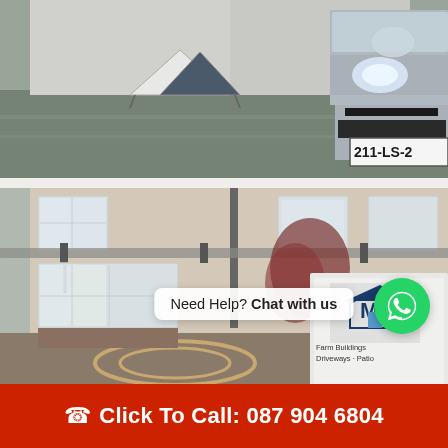[Figure (photo): Outdoor scene showing a wet car park with a sign board and a grey/silver car (partial) with Irish registration plate 211-LS-2, photographed in rainy weather.]
[Figure (photo): Exterior of a beige/cream rendered building with white uPVC windows, a service van with branding showing 'Farm Buildings, Driveways, Patios' and partial company logo, with a decorative circle pattern on the tarmac/brick forecourt. A WhatsApp chat bubble overlay reads 'Need Help? Chat with us'.]
Need Help? Chat with us
Click To Call: 087 904 6804